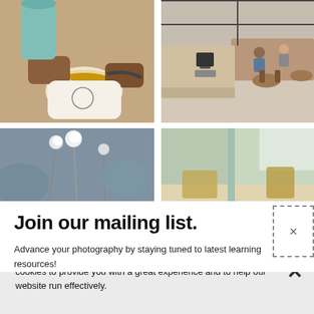[Figure (photo): Close-up of hands pouring latte art into a coffee cup]
[Figure (photo): Interior of a coffee shop/restaurant with tables and chairs]
[Figure (photo): Cotton flowers or dried plants on a blurred background]
[Figure (photo): Bright interior with pastel colored walls, partially visible]
Join our mailing list.
Advance your photography by staying tuned to latest learning resources!
By using this website, you agree to our use of cookies. We use cookies to provide you with a great experience and to help our website run effectively.